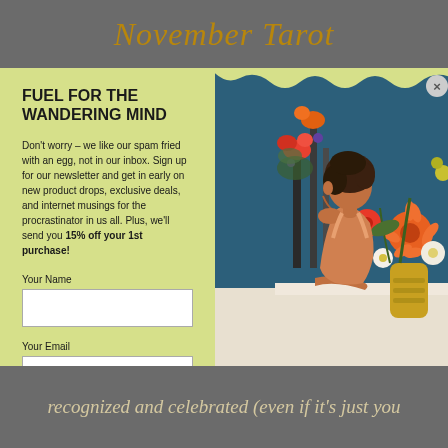November Tarot
FUEL FOR THE WANDERING MIND
Don't worry – we like our spam fried with an egg, not in our inbox. Sign up for our newsletter and get in early on new product drops, exclusive deals, and internet musings for the procrastinator in us all. Plus, we'll send you 15% off your 1st purchase!
Your Name
Your Email
SUBSCRIBE
[Figure (photo): Woman with curly hair sitting contemplatively next to colorful flower arrangements against a dark blue wall]
recognized and celebrated (even if it's just you